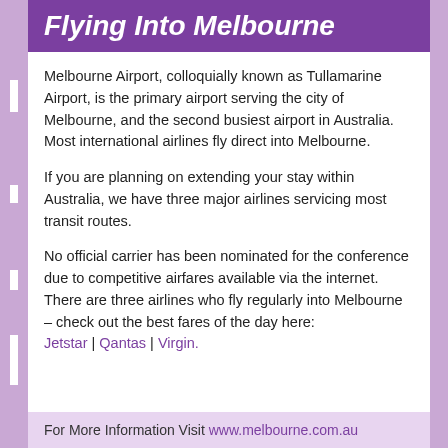Flying Into Melbourne
Melbourne Airport, colloquially known as Tullamarine Airport, is the primary airport serving the city of Melbourne, and the second busiest airport in Australia. Most international airlines fly direct into Melbourne.
If you are planning on extending your stay within Australia, we have three major airlines servicing most transit routes.
No official carrier has been nominated for the conference due to competitive airfares available via the internet. There are three airlines who fly regularly into Melbourne – check out the best fares of the day here: Jetstar | Qantas | Virgin.
For More Information Visit www.melbourne.com.au